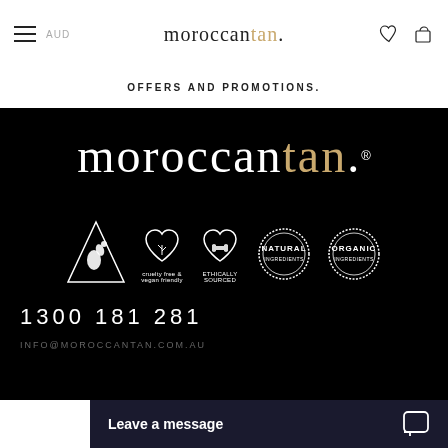moroccantan. | AUD | (hamburger menu) | (heart icon) | (bag icon)
OFFERS AND PROMOTIONS.
[Figure (logo): moroccantan. brand logo in white and gold on black background, with registered trademark symbol]
[Figure (logo): Five badges on black background: Australian Made (kangaroo in triangle), cruelty free & vegan friendly (heart with branches), ETHICALLY SOURCED (handshake heart), NATURAL INGREDIENTS (circular stamp), ORGANIC INGREDIENTS (circular stamp)]
1300 181 281
INFO@MOROCCANTAN.COM.AU
BUTTER SACHETS - 50 PACK
Leave a message